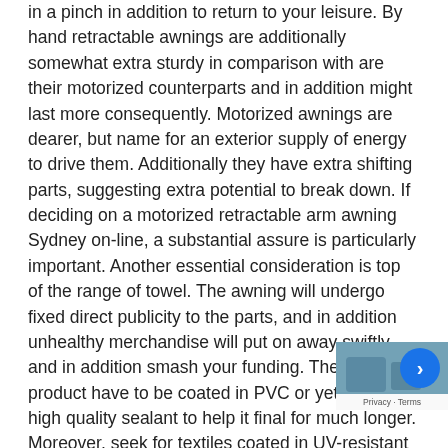in a pinch in addition to return to your leisure. By hand retractable awnings are additionally somewhat extra sturdy in comparison with are their motorized counterparts and in addition might last more consequently. Motorized awnings are dearer, but name for an exterior supply of energy to drive them. Additionally they have extra shifting parts, suggesting extra potential to break down. If deciding on a motorized retractable arm awning Sydney on-line, a substantial assure is particularly important. Another essential consideration is top of the range of towel. The awning will undergo fixed direct publicity to the parts, and in addition unhealthy merchandise will put on away swiftly and in addition smash your funding. The awning product have to be coated in PVC or yet another high quality sealant to help it final for much longer. Moreover, seek for textiles coated in UV-resistant supplies to supply even greater safety from the daylight's hazardous rays whilst you loosen up in your patio. Shade and sample are 2 final essential concerns. Your retractable awning represents a substantial monetary funding within the worth of your own home. Retractable awnings sy... a big funding in your industrial property. Many retract... arm awnings include in depth warranties, in addition to those...
[Figure (other): reCAPTCHA widget overlay in bottom-right corner showing a blue circular arrow icon and 'Privacy - Terms' text bar]